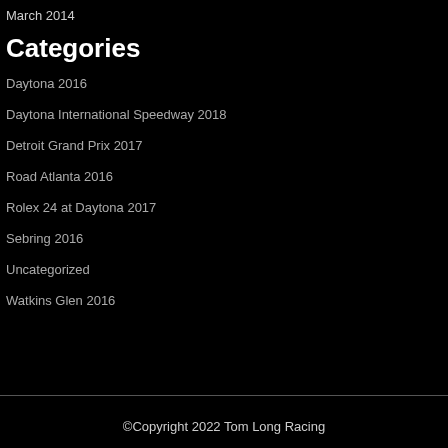March 2014
Categories
Daytona 2016
Daytona International Speedway 2018
Detroit Grand Prix 2017
Road Atlanta 2016
Rolex 24 at Daytona 2017
Sebring 2016
Uncategorized
Watkins Glen 2016
©Copyright 2022 Tom Long Racing